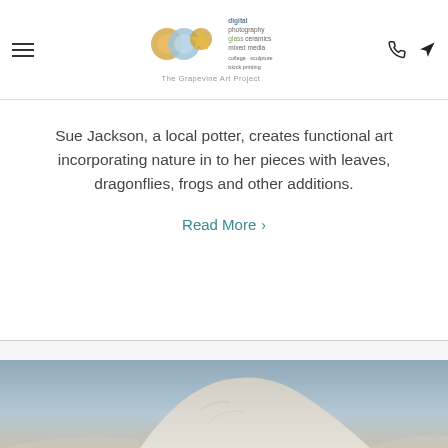The Grapevine Art Project — navigation header with logo
Sue Jackson, a local potter, creates functional art incorporating nature in to her pieces with leaves, dragonflies, frogs and other additions.
Read More >
2 D ARTISTS GALLERY
[Figure (photo): Partially visible photograph of a sculptural or landscape form against a grey-blue sky, cropped at bottom of page]